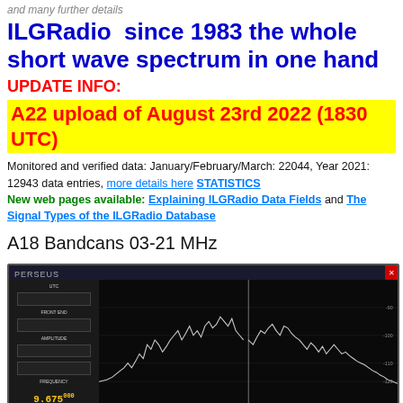and many further details
ILGRadio  since 1983 the whole short wave spectrum in one hand
UPDATE INFO:
A22 upload of August 23rd 2022 (1830 UTC)
Monitored and verified data: January/February/March: 22044, Year 2021:  12943 data entries, more details here STATISTICS
New web pages available: Explaining ILGRadio Data Fields and The Signal Types of the ILGRadio Database
A18 Bandcans 03-21 MHz
[Figure (screenshot): PERSEUS SDR software screenshot showing a shortwave spectrum display with ILG Software watermark and frequency readout of 9.675000 MHz]